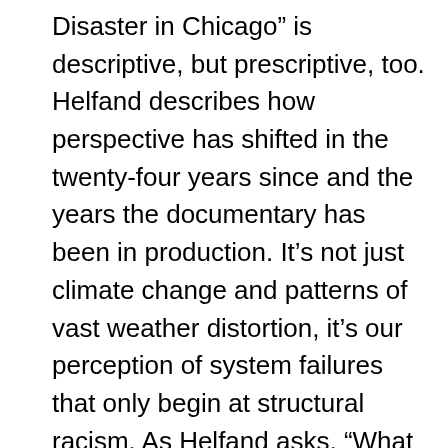Disaster in Chicago” is descriptive, but prescriptive, too. Helfand describes how perspective has shifted in the twenty-four years since and the years the documentary has been in production. It’s not just climate change and patterns of vast weather distortion, it’s our perception of system failures that only begin at structural racism. As Helfand asks, “What if with a slight torque of the system and a reframe of the terms ‘disaster,’ ‘preparedness’ and ‘resilience,’ we could invest in the most vulnerable communities now—instead of waiting for the next ‘natural disaster’?” Urgent questions, asked crisply and well. 82m. (Ray Pride)